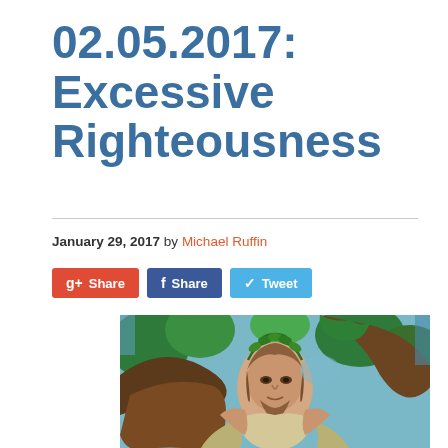02.05.2017: Excessive Righteousness
January 29, 2017 by Michael Ruffin
[Figure (other): Social share buttons: Google+ Share, Facebook Share, Twitter Tweet]
[Figure (photo): Stained glass window depicting a figure resembling Jesus Christ with a crown of leaves, surrounded by trees and colorful glass panes]